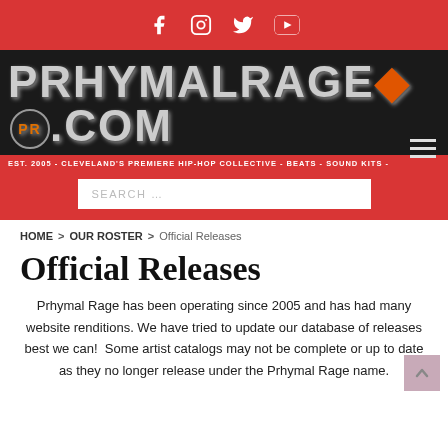Social icons: Facebook, Instagram, Twitter, YouTube
[Figure (logo): PRHYMALRAGE.COM logo in grunge style on dark background with tagline: EST. 2005 - CLEVELAND'S PREMIERE HIP-HOP COLLECTIVE - BEATS - SOUND KITS - PROMOTIONAL OUTLET]
SEARCH ...
HOME > OUR ROSTER > Official Releases
Official Releases
Prhymal Rage has been operating since 2005 and has had many website renditions. We have tried to update our database of releases best we can! Some artist catalogs may not be complete or up to date as they no longer release under the Prhymal Rage name.